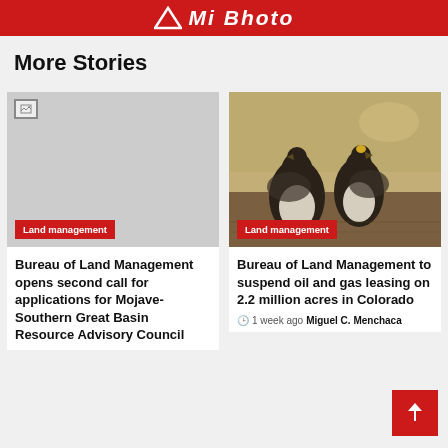Mi Bhoto
More Stories
[Figure (photo): Broken/missing image placeholder for first card (Bureau of Land Management story)]
Land management
Bureau of Land Management opens second call for applications for Mojave-Southern Great Basin Resource Advisory Council
[Figure (photo): Photo of two greater sage-grouse birds standing on ground, brown dry grass background]
Land management
Bureau of Land Management to suspend oil and gas leasing on 2.2 million acres in Colorado
1 week ago  Miguel C. Menchaca